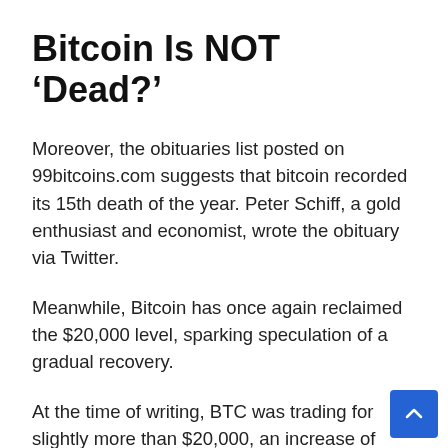Bitcoin Is NOT ‘Dead?’
Moreover, the obituaries list posted on 99bitcoins.com suggests that bitcoin recorded its 15th death of the year. Peter Schiff, a gold enthusiast and economist, wrote the obituary via Twitter.
Meanwhile, Bitcoin has once again reclaimed the $20,000 level, sparking speculation of a gradual recovery.
At the time of writing, BTC was trading for slightly more than $20,000, an increase of almost 6 percent over the previous 24 hours, while a number of alternative cryptocurrencies